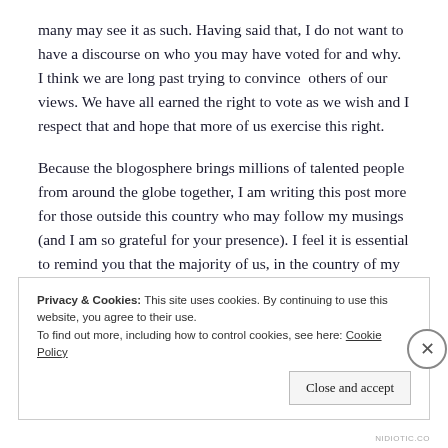many may see it as such. Having said that, I do not want to have a discourse on who you may have voted for and why. I think we are long past trying to convince  others of our views. We have all earned the right to vote as we wish and I respect that and hope that more of us exercise this right.
Because the blogosphere brings millions of talented people from around the globe together, I am writing this post more for those outside this country who may follow my musings (and I am so grateful for your presence). I feel it is essential to remind you that the majority of us, in the country of my birth, do not
Privacy & Cookies: This site uses cookies. By continuing to use this website, you agree to their use.
To find out more, including how to control cookies, see here: Cookie Policy
Close and accept
NIDIOTIC.CO